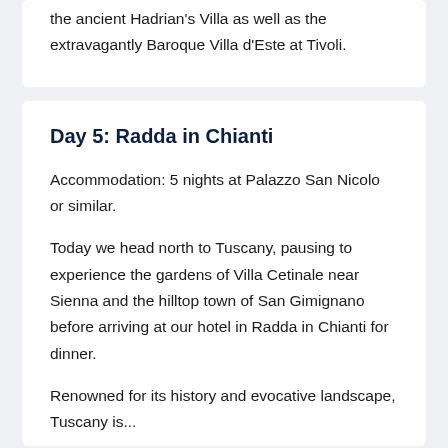the ancient Hadrian's Villa as well as the extravagantly Baroque Villa d'Este at Tivoli.
Day 5: Radda in Chianti
Accommodation: 5 nights at Palazzo San Nicolo or similar.
Today we head north to Tuscany, pausing to experience the gardens of Villa Cetinale near Sienna and the hilltop town of San Gimignano before arriving at our hotel in Radda in Chianti for dinner.
Renowned for its history and evocative landscape, Tuscany is...